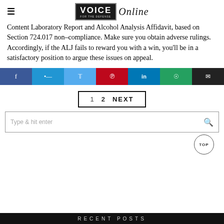VOICE Online
Content Laboratory Report and Alcohol Analysis Affidavit, based on Section 724.017 non-compliance. Make sure you obtain adverse rulings. Accordingly, if the ALJ fails to reward you with a win, you'll be in a satisfactory position to argue these issues on appeal.
[Figure (other): Social sharing buttons: Facebook, Messenger, Twitter, Pinterest, LinkedIn, WhatsApp, Email]
[Figure (other): Pagination: 1  2  NEXT]
[Figure (other): Search bar with magnifying glass icon]
[Figure (other): TOP button circle]
RECENT POSTS